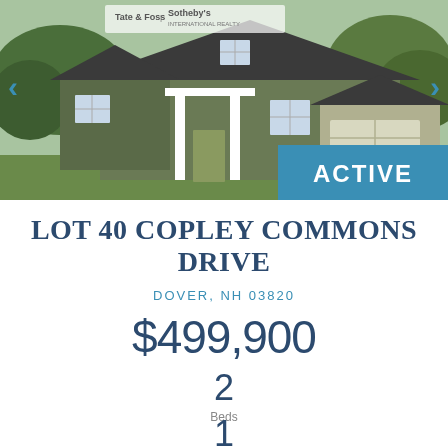[Figure (photo): Exterior photo of a craftsman-style house with green/gray siding, white columns on porch, garage on right side, with Tate & Foss and Sotheby's International Realty logos visible. An ACTIVE status badge appears in the lower right of the image.]
LOT 40 COPLEY COMMONS DRIVE
DOVER, NH 03820
$499,900
2 Beds
1 Baths
1,100